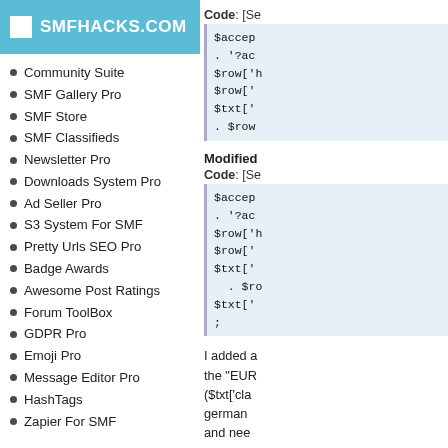SMFHACKS.COM
Community Suite
SMF Gallery Pro
SMF Store
SMF Classifieds
Newsletter Pro
Downloads System Pro
Ad Seller Pro
S3 System For SMF
Pretty Urls SEO Pro
Badge Awards
Awesome Post Ratings
Forum ToolBox
GDPR Pro
Emoji Pro
Message Editor Pro
HashTags
Zapier For SMF
SMF Modifications
Latest SMF Modifications
TopTen Modifications
Styles and Themes
Add a Modification
Manage Modifications
Earn Money from Your
Code: [Se
$accep
. '?ac
$row['h
$row['
$txt['
. $row
Modified
Code: [Se
$accep
. '?ac
$row['h
$row['
$txt['
  . $ro
$txt['
;
I added a the "EUR ($txt['cla german and nee